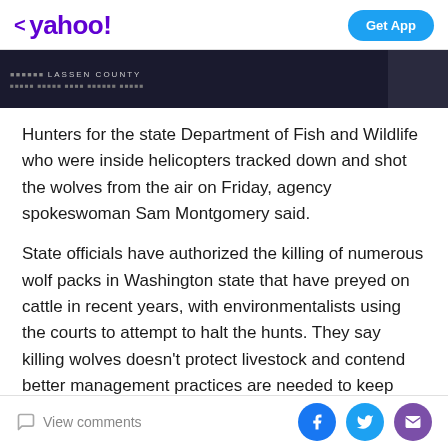< yahoo!   Get App
[Figure (screenshot): Dark banner image showing text 'LASSEN COUNTY' and other text on a dark background]
Hunters for the state Department of Fish and Wildlife who were inside helicopters tracked down and shot the wolves from the air on Friday, agency spokeswoman Sam Montgomery said.
State officials have authorized the killing of numerous wolf packs in Washington state that have preyed on cattle in recent years, with environmentalists using the courts to attempt to halt the hunts. They say killing wolves doesn't protect livestock and contend better management practices are needed to keep wolves away from cattle.
View comments